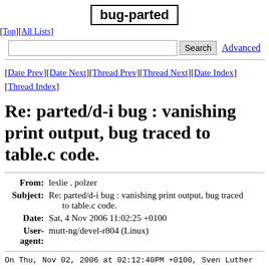bug-parted
[Top][All Lists]
[Date Prev][Date Next][Thread Prev][Thread Next][Date Index][Thread Index]
Re: parted/d-i bug : vanishing print output, bug traced to table.c code.
| Field | Value |
| --- | --- |
| From | leslie . polzer |
| Subject | Re: parted/d-i bug : vanishing print output, bug traced to table.c code. |
| Date | Sat, 4 Nov 2006 11:02:25 +0100 |
| User-agent | mutt-ng/devel-r804 (Linux) |
On Thu, Nov 02, 2006 at 02:12:40PM +0100, Sven Luther wro
> We may think about removing the dependency on parted ou
> and replace that with a little libparted program instea